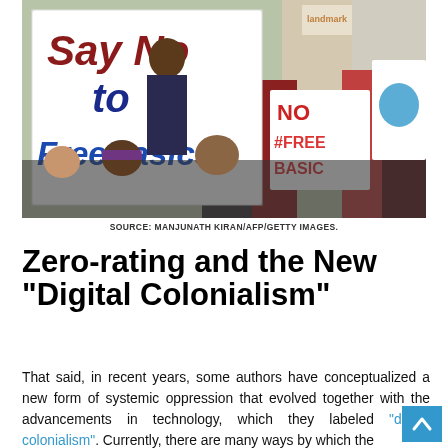[Figure (photo): Protest photo showing people holding signs saying 'Say No to FreeBasics' and 'NO #FREE BASIC' at a demonstration]
SOURCE: MANJUNATH KIRAN/AFP/GETTY IMAGES.
Zero-rating and the New "Digital Colonialism"
That said, in recent years, some authors have conceptualized a new form of systemic oppression that evolved together with the advancements in technology, which they labeled "digital colonialism". Currently, there are many ways by which the